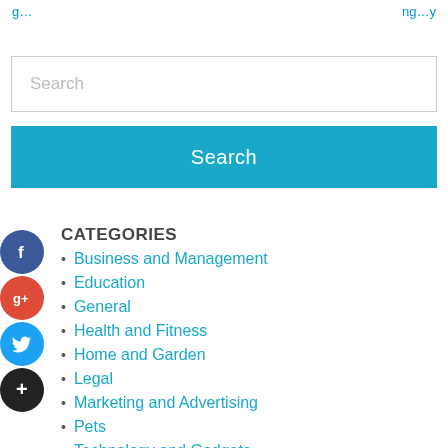… …
Search (input box)
Search (button)
CATEGORIES
Business and Management
Education
General
Health and Fitness
Home and Garden
Legal
Marketing and Advertising
Pets
Technology and Gadgets